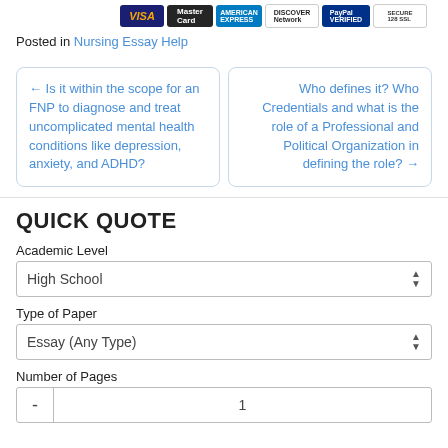[Figure (other): Payment method icons: Visa, MasterCard, American Express, Discover, PayPal Verified, Secure SSL]
Posted in Nursing Essay Help
← Is it within the scope for an FNP to diagnose and treat uncomplicated mental health conditions like depression, anxiety, and ADHD?
Who defines it? Who Credentials and what is the role of a Professional and Political Organization in defining the role? →
QUICK QUOTE
Academic Level
High School
Type of Paper
Essay (Any Type)
Number of Pages
1